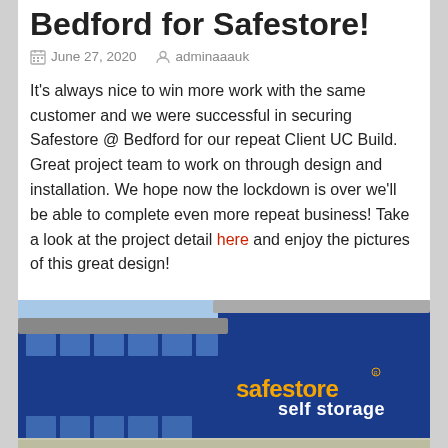Bedford for Safestore!
June 27, 2020   adminaaauk
It's always nice to win more work with the same customer and we were successful in securing Safestore @ Bedford for our repeat Client UC Build. Great project team to work on through design and installation. We hope now the lockdown is over we'll be able to complete even more repeat business! Take a look at the project detail here and enjoy the pictures of this great design!
[Figure (photo): Photo of a Safestore self storage building with blue facade and orange 'safestore self storage' signage]